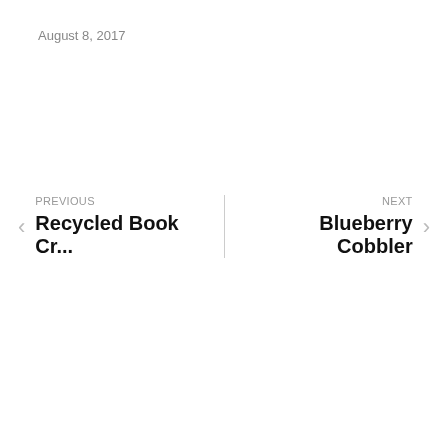August 8, 2017
PREVIOUS
Recycled Book Cr...
NEXT
Blueberry Cobbler
Leave a Comment
You must Register or Login to post a comment.